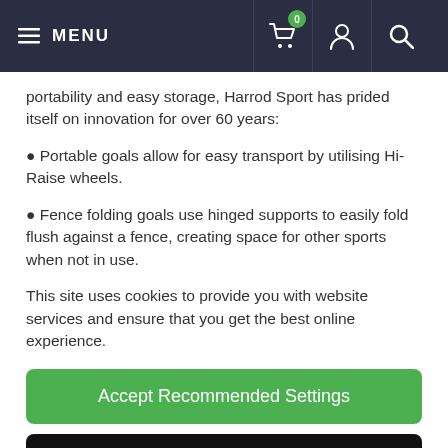MENU (navigation bar with cart, account, search icons)
portability and easy storage, Harrod Sport has prided itself on innovation for over 60 years:
Portable goals allow for easy transport by utilising Hi-Raise wheels.
Fence folding goals use hinged supports to easily fold flush against a fence, creating space for other sports when not in use.
This site uses cookies to provide you with website services and ensure that you get the best online experience.
Accept Recommended Settings
Learn More